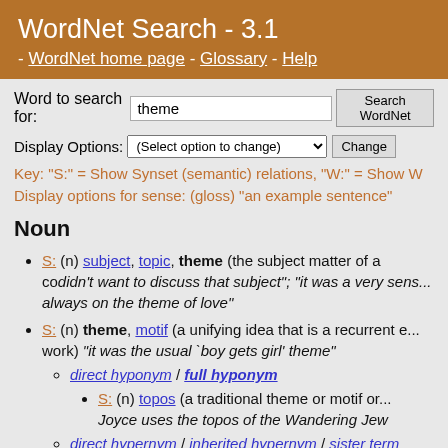WordNet Search - 3.1 - WordNet home page - Glossary - Help
Word to search for: theme [Search WordNet]
Display Options: (Select option to change) [Change]
Key: "S:" = Show Synset (semantic) relations, "W:" = Show W...
Display options for sense: (gloss) "an example sentence"
Noun
S: (n) subject, topic, theme (the subject matter of a co... didn't want to discuss that subject"; "it was a very sens... always on the theme of love"
S: (n) theme, motif (a unifying idea that is a recurrent e... work) "it was the usual 'boy gets girl' theme"
direct hyponym / full hyponym
S: (n) topos (a traditional theme or motif or... Joyce uses the topos of the Wandering Jew...
direct hypernym / inherited hypernym / sister term...
derivationally related form